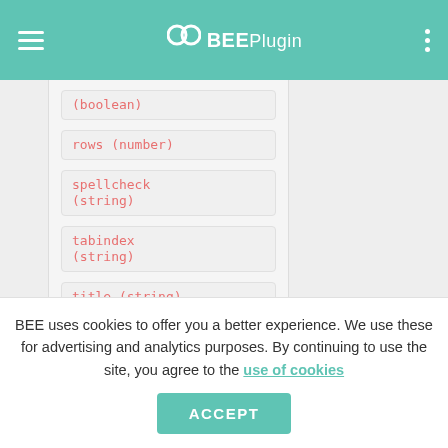BEEPlugin navigation header
(boolean)
rows (number)
spellcheck (string)
tabindex (string)
title (string)
value (string)
wrap (string)
BEE uses cookies to offer you a better experience. We use these for advertising and analytics purposes. By continuing to use the site, you agree to the use of cookies
ACCEPT